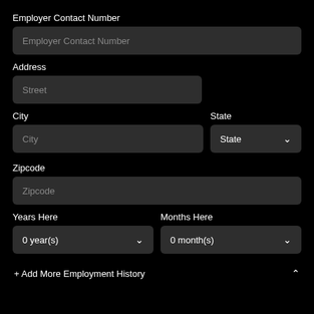Employer Contact Number
Employer Contact Number (placeholder)
Address
Street (placeholder)
City
State
City (placeholder)
State (dropdown)
Zipcode
Zipcode (placeholder)
Years Here
Months Here
0 year(s)
0 month(s)
+ Add More Employment History